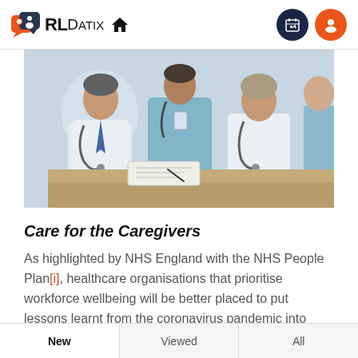RLDatix [home icon] [calendar icon] [user icon]
[Figure (photo): Medical professionals in white coats and scrubs gathered around a table, appearing to discuss something. Three or four healthcare workers visible, one holding a pen.]
Care for the Caregivers
As highlighted by NHS England with the NHS People Plan[i], healthcare organisations that prioritise workforce wellbeing will be better placed to put lessons learnt from the coronavirus pandemic into practice. Phil
New   Viewed   All